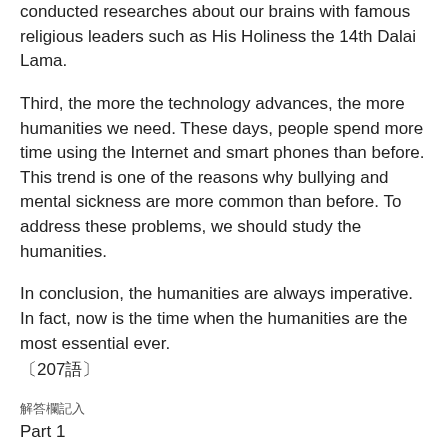conducted researches about our brains with famous religious leaders such as His Holiness the 14th Dalai Lama.
Third, the more the technology advances, the more humanities we need. These days, people spend more time using the Internet and smart phones than before. This trend is one of the reasons why bullying and mental sickness are more common than before. To address these problems, we should study the humanities.
In conclusion, the humanities are always imperative. In fact, now is the time when the humanities are the most essential ever.
〔207語〕
解答欄記入
Part 1
No.1 1 No.2 2 No.3 2 No.4 1 No.5 3
No.6 3 No.7 2 No.8 1 No.9 4 No.10 2